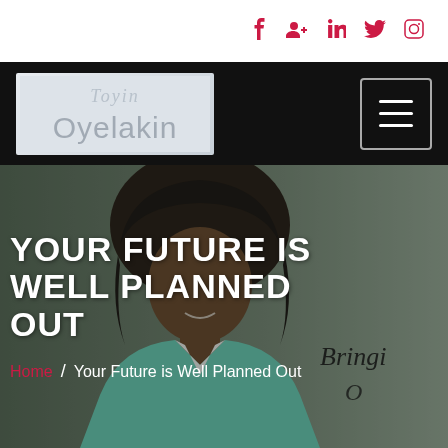Social icons: Facebook, Google+, LinkedIn, Twitter, Instagram
[Figure (logo): Toyin Oyelakin logo — cursive 'Toyin' above stylized 'Oyelakin' text in white on light gray background]
YOUR FUTURE IS WELL PLANNED OUT
Home / Your Future is Well Planned Out
[Figure (photo): Woman smiling in teal/mint jacket with dark hair, standing against a background with text 'Bringi O...']